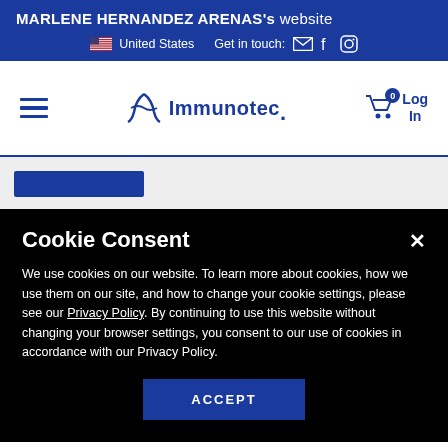MARLENE HERNANDEZ ARENAS's website
🇺🇸 United States   Get in touch:
[Figure (logo): Immunotec logo with cart icon and Log In text]
Cookie Consent
We use cookies on our website. To learn more about cookies, how we use them on our site, and how to change your cookie settings, please see our Privacy Policy. By continuing to use this website without changing your browser settings, you consent to our use of cookies in accordance with our Privacy Policy.
ACCEPT